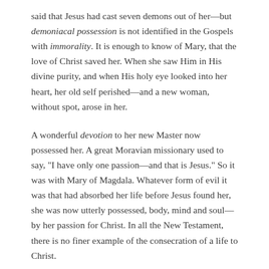said that Jesus had cast seven demons out of her—but demoniacal possession is not identified in the Gospels with immorality. It is enough to know of Mary, that the love of Christ saved her. When she saw Him in His divine purity, and when His holy eye looked into her heart, her old self perished—and a new woman, without spot, arose in her.
A wonderful devotion to her new Master now possessed her. A great Moravian missionary used to say, "I have only one passion—and that is Jesus." So it was with Mary of Magdala. Whatever form of evil it was that had absorbed her life before Jesus found her, she was now utterly possessed, body, mind and soul—by her passion for Christ. In all the New Testament, there is no finer example of the consecration of a life to Christ.